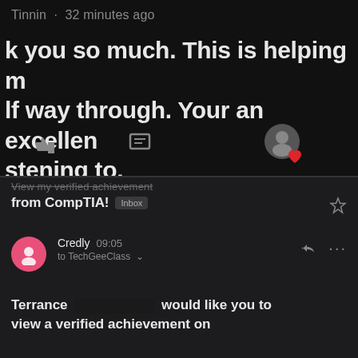Tinnin · 32 minutes ago
k you so much. This is helping m lf way through. Your an excellen stening to.
[Figure (screenshot): Social media comment interaction icons: thumbs down, comment bubble, and user avatar with red heart reaction]
View my verified achievement from CompTIA! [Inbox]
Credly 09:05 to TechGeeClass
Terrance [REDACTED] would like you to view a verified achievement on